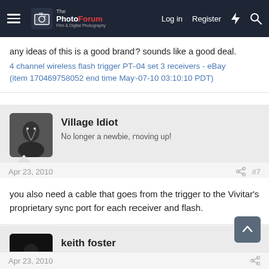The Photo Forum — Log in | Register
any ideas of this is a good brand? sounds like a good deal.
4 channel wireless flash trigger PT-04 set 3 receivers - eBay (item 170469758052 end time May-07-10 03:10:10 PDT)
Village Idiot
No longer a newbie, moving up!
Apr 23, 2010
#7
you also need a cable that goes from the trigger to the Vivitar's proprietary sync port for each receiver and flash.
keith foster
TPF Noob!